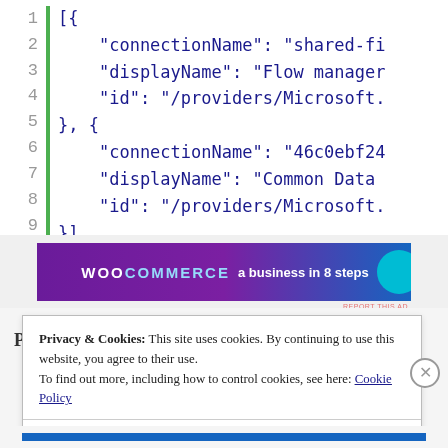[Figure (screenshot): Code block showing JSON array with line numbers 1-9 and green vertical bar. Content shows connectionName, displayName, and id properties for two objects, truncated at right edge.]
[Figure (other): WooCommerce advertisement banner: purple/blue gradient with text 'a business in 8 steps' and teal circle on right.]
Privacy & Cookies: This site uses cookies. By continuing to use this website, you agree to their use.
To find out more, including how to control cookies, see here: Cookie Policy
Close and accept